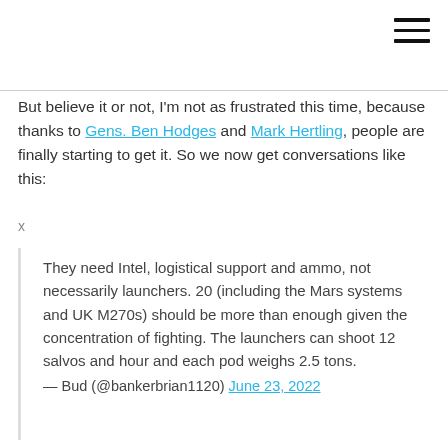But believe it or not, I'm not as frustrated this time, because thanks to Gens. Ben Hodges and Mark Hertling, people are finally starting to get it. So we now get conversations like this:
x
They need Intel, logistical support and ammo, not necessarily launchers. 20 (including the Mars systems and UK M270s) should be more than enough given the concentration of fighting. The launchers can shoot 12 salvos and hour and each pod weighs 2.5 tons.
— Bud (@bankerbrian1120) June 23, 2022